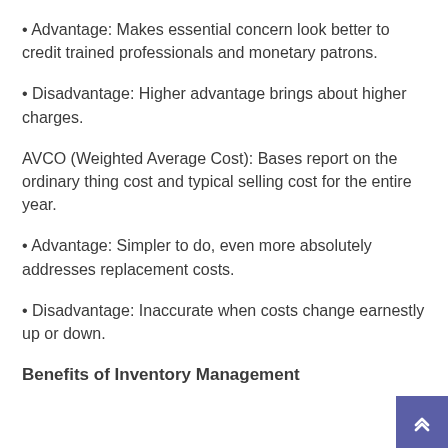Advantage: Makes essential concern look better to credit trained professionals and monetary patrons.
Disadvantage: Higher advantage brings about higher charges.
AVCO (Weighted Average Cost): Bases report on the ordinary thing cost and typical selling cost for the entire year.
Advantage: Simpler to do, even more absolutely addresses replacement costs.
Disadvantage: Inaccurate when costs change earnestly up or down.
Benefits of Inventory Management